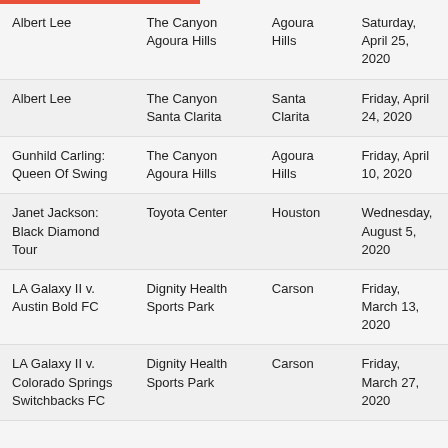| Albert Lee | The Canyon Agoura Hills | Agoura Hills | Saturday, April 25, 2020 |
| Albert Lee | The Canyon Santa Clarita | Santa Clarita | Friday, April 24, 2020 |
| Gunhild Carling: Queen Of Swing | The Canyon Agoura Hills | Agoura Hills | Friday, April 10, 2020 |
| Janet Jackson: Black Diamond Tour | Toyota Center | Houston | Wednesday, August 5, 2020 |
| LA Galaxy II v. Austin Bold FC | Dignity Health Sports Park | Carson | Friday, March 13, 2020 |
| LA Galaxy II v. Colorado Springs Switchbacks FC | Dignity Health Sports Park | Carson | Friday, March 27, 2020 |